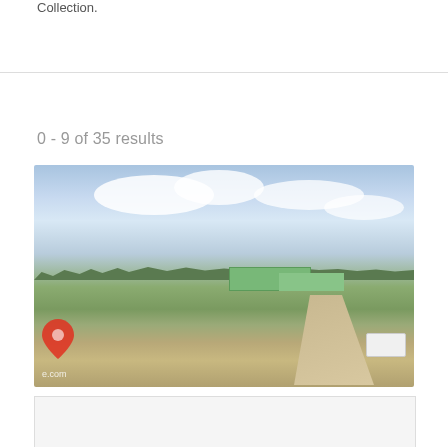Collection.
0 - 9 of 35 results
[Figure (photo): Aerial or elevated view of a rural ranch/farm property with green-roofed buildings, dirt roads/paths, grassland landscape, and a partly cloudy sky. A white trailer is visible at bottom right. A red location pin watermark logo appears at bottom left with partial URL text.]